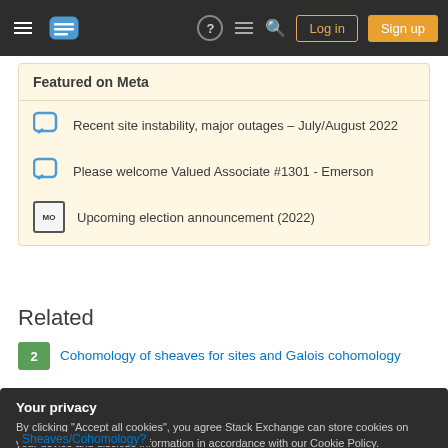Stack Exchange navigation bar with Log in and Sign up buttons
Featured on Meta
Recent site instability, major outages – July/August 2022
Please welcome Valued Associate #1301 - Emerson
Upcoming election announcement (2022)
Related
2 Cohomology of sheaves for sites and Galois cohomology
Your privacy
By clicking "Accept all cookies", you agree Stack Exchange can store cookies on your device and disclose information in accordance with our Cookie Policy.
Sheaves/Cohomology?